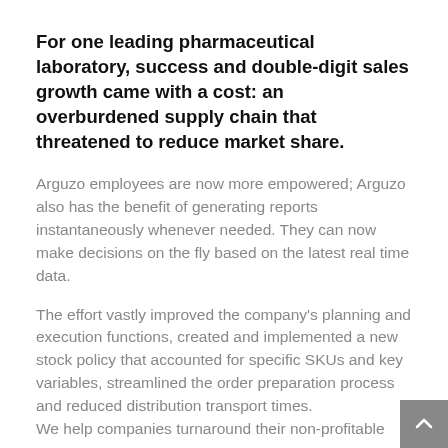For one leading pharmaceutical laboratory, success and double-digit sales growth came with a cost: an overburdened supply chain that threatened to reduce market share.
Arguzo employees are now more empowered; Arguzo also has the benefit of generating reports instantaneously whenever needed. They can now make decisions on the fly based on the latest real time data.
The effort vastly improved the company's planning and execution functions, created and implemented a new stock policy that accounted for specific SKUs and key variables, streamlined the order preparation process and reduced distribution transport times.
We help companies turnaround their non-profitable